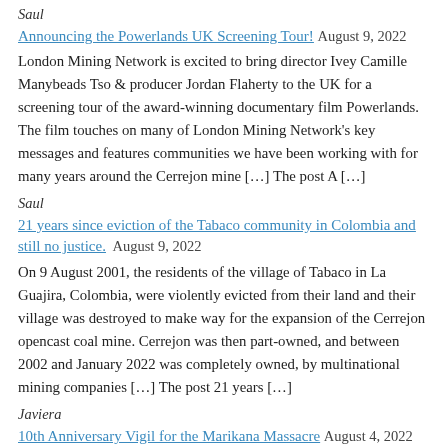Saul
Announcing the Powerlands UK Screening Tour! August 9, 2022
London Mining Network is excited to bring director Ivey Camille Manybeads Tso & producer Jordan Flaherty to the UK for a screening tour of the award-winning documentary film Powerlands. The film touches on many of London Mining Network's key messages and features communities we have been working with for many years around the Cerrejon mine […] The post A […]
Saul
21 years since eviction of the Tabaco community in Colombia and still no justice. August 9, 2022
On 9 August 2001, the residents of the village of Tabaco in La Guajira, Colombia, were violently evicted from their land and their village was destroyed to make way for the expansion of the Cerrejon opencast coal mine. Cerrejon was then part-owned, and between 2002 and January 2022 was completely owned, by multinational mining companies […] The post 21 years […]
Javiera
10th Anniversary Vigil for the Marikana Massacre August 4, 2022
10 Years Since the Marikana Massacre: Still No Justice, Still No Peace